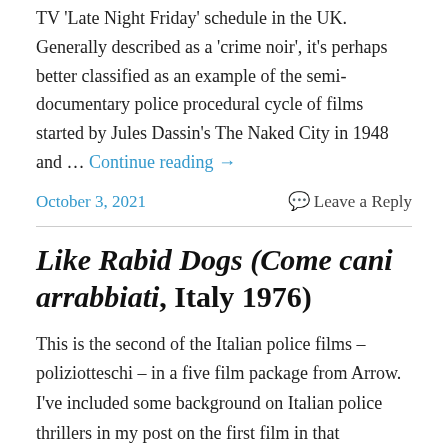TV 'Late Night Friday' schedule in the UK. Generally described as a 'crime noir', it's perhaps better classified as an example of the semi-documentary police procedural cycle of films started by Jules Dassin's The Naked City in 1948 and … Continue reading →
October 3, 2021   Leave a Reply
Like Rabid Dogs (Come cani arrabbiati, Italy 1976)
This is the second of the Italian police films – poliziotteschi – in a five film package from Arrow. I've included some background on Italian police thrillers in my post on the first film in that collection, Savage Three (1975). You might want to read that first to get a more informed… Continue